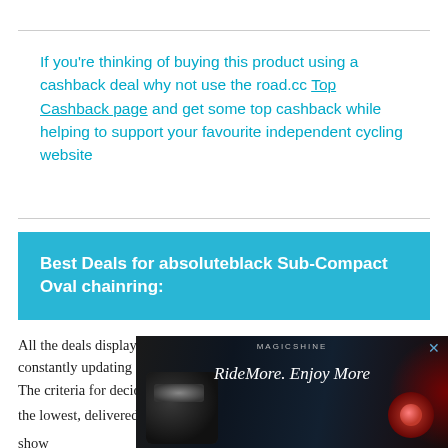If you're thinking of buying this product using a cashback deal why not use the road.cc Top Cashback page and get some top cashback while helping to support your favourite independent cycling website
Best Deals for absoluteblack Sub-Compact Oval chainring:
All the deals displayed on our review pages are pulled from a constantly updating database feed of the best affiliate deals available. The criteria for deciding on what are the best deals is who is offering the lowest, delivered price. In most cases we wil show [ad overlay] may be ab [ad overlay] st a link in [ad overlay] e links o [ad overlay]
[Figure (photo): Advertisement overlay: Magicshine RideMore. Enjoy More cycling lights ad with dark background showing bike lights]